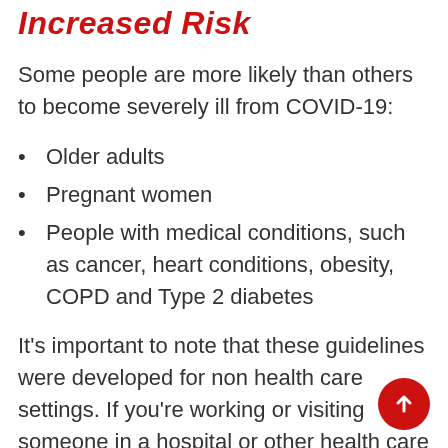Increased Risk
Some people are more likely than others to become severely ill from COVID-19:
Older adults
Pregnant women
People with medical conditions, such as cancer, heart conditions, obesity, COPD and Type 2 diabetes
It’s important to note that these guidelines were developed for non health care settings. If you’re working or visiting someone in a hospital or other health care setting, such as a long term care facility or doctor’s office, masking and social distancing requirements